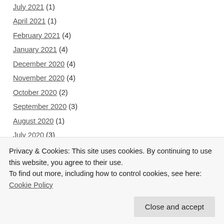July 2021 (1)
April 2021 (1)
February 2021 (4)
January 2021 (4)
December 2020 (4)
November 2020 (4)
October 2020 (2)
September 2020 (3)
August 2020 (1)
July 2020 (3)
June 2020 (2)
April 2020 (2)
January 2020 (2)
June 2019 (1)
Privacy & Cookies: This site uses cookies. By continuing to use this website, you agree to their use.
To find out more, including how to control cookies, see here: Cookie Policy